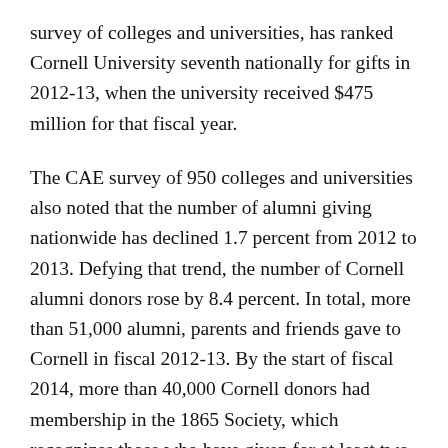survey of colleges and universities, has ranked Cornell University seventh nationally for gifts in 2012-13, when the university received $475 million for that fiscal year.
The CAE survey of 950 colleges and universities also noted that the number of alumni giving nationwide has declined 1.7 percent from 2012 to 2013. Defying that trend, the number of Cornell alumni donors rose by 8.4 percent. In total, more than 51,000 alumni, parents and friends gave to Cornell in fiscal 2012-13. By the start of fiscal 2014, more than 40,000 Cornell donors had membership in the 1865 Society, which recognizes those who have given for at least two consecutive years.
“I am grateful for this groundswell of support,” says